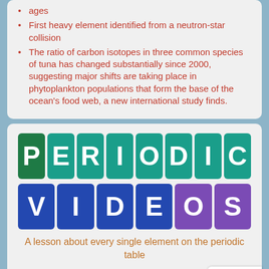ages
First heavy element identified from a neutron-star collision
The ratio of carbon isotopes in three common species of tuna has changed substantially since 2000, suggesting major shifts are taking place in phytoplankton populations that form the base of the ocean's food web, a new international study finds.
[Figure (logo): Periodic Videos logo — two rows of colored letter tiles spelling PERIODIC and VIDEOS]
A lesson about every single element on the periodic table
Created by the Periodic Videos team using the TED-Ed platform.